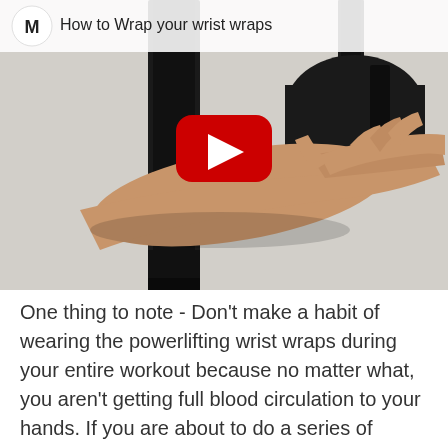[Figure (screenshot): YouTube video thumbnail showing a person wrapping wrist wraps around their forearm/wrist, with black fabric straps visible. A YouTube play button (red rectangle with white triangle) is centered on the image. Top-left shows a white circular logo with letter M and video title 'How to Wrap your wrist wraps'.]
One thing to note - Don't make a habit of wearing the powerlifting wrist wraps during your entire workout because no matter what, you aren't getting full blood circulation to your hands. If you are about to do a series of workouts where you